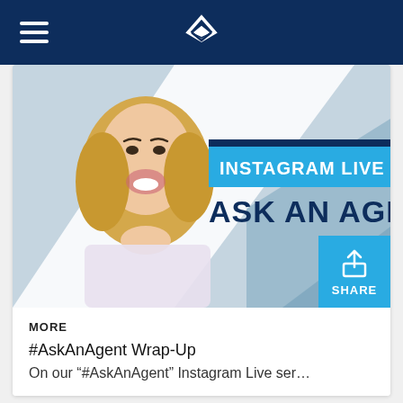Navigation bar with hamburger menu and logo
[Figure (photo): Instagram Live 'Ask An Agent' promotional graphic with a smiling blonde woman, blue geometric background, text overlay reading 'INSTAGRAM LIVE' and 'ASK AN AGEN[T]']
MORE
#AskAnAgent Wrap-Up
On our “#AskAnAgent” Instagram Live ser…